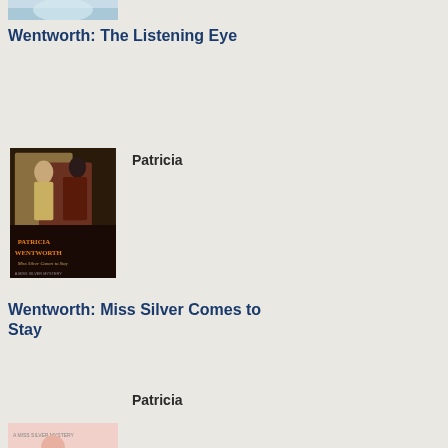[Figure (illustration): Partial book cover image at top, cropped - appears to be light blue/sky tones with a figure]
Wentworth: The Listening Eye
Patricia
[Figure (illustration): Book cover for 'Miss Silver Comes to Stay' by Patricia Wentworth - A Miss Silver Mystery. Shows a man and woman in vintage style, dark background, orange title text.]
Wentworth: Miss Silver Comes to Stay
Patricia
[Figure (illustration): Book cover for 'Lonesome Road' by Patricia Wentworth - A Miss Silver Mystery. Shows a woman in pink dress with pearls, pink background.]
ove
my
initi
irrit
with
Mr
Bra
and
sim
lov
Mu
Ad
Abo
No
a
gig
fra
pos
of
whi
is
on
my
livi